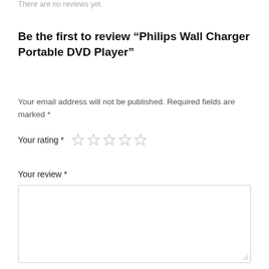There are no reviews yet.
Be the first to review “Philips Wall Charger Portable DVD Player”
Your email address will not be published. Required fields are marked *
Your rating *
Your review *